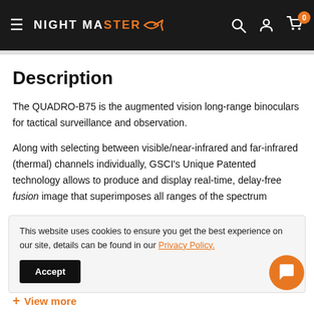Night Master — navigation header with logo, search, account, and cart icons
Description
The QUADRO-B75 is the augmented vision long-range binoculars for tactical surveillance and observation.
Along with selecting between visible/near-infrared and far-infrared (thermal) channels individually, GSCI's Unique Patented technology allows to produce and display real-time, delay-free fusion image that superimposes all ranges of the spectrum
This website uses cookies to ensure you get the best experience on our site, details can be found in our Privacy Policy.
View more